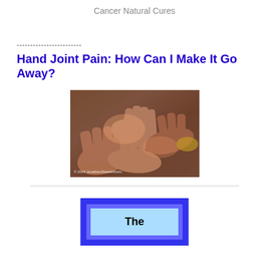Cancer Natural Cures
------------------------
Hand Joint Pain: How Can I Make It Go Away?
[Figure (photo): Multiple pairs of elderly hands overlapping each other with a copyright notice '© 2014 JonathanSteeleWorks' at the bottom left]
[Figure (other): Blue nested box design with a light blue inner box containing the word 'The' in bold black text]